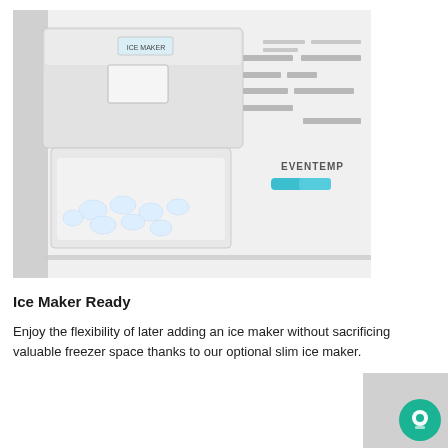[Figure (photo): Interior of a refrigerator freezer section showing a slim ice maker unit with an ice storage bin filled with ice cubes. The freezer interior is white with shelving and a temperature control labeled EVENTEMP with a blue slider.]
Ice Maker Ready
Enjoy the flexibility of later adding an ice maker without sacrificing valuable freezer space thanks to our optional slim ice maker.